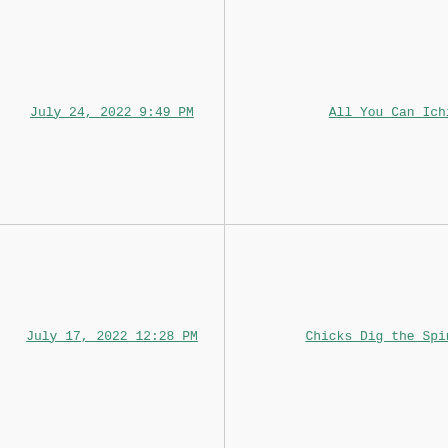July 24, 2022 9:49 PM
All You Can Ichiro
Mat
ATL 1

Jef
NYM 2B

Ju
WSN
July 17, 2022 12:28 PM
Chicks Dig the Spin Rate
Clayt
LAD SP L

Gianca
NYY OF L

C.
COL

Core
TEX S

Shoh
LAA Uti